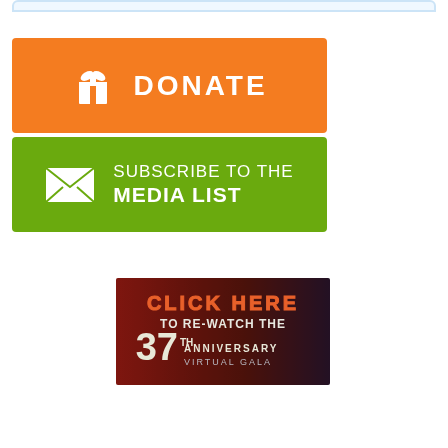[Figure (illustration): Orange donate button with gift icon and text DONATE]
[Figure (illustration): Green subscribe button with envelope icon and text SUBSCRIBE TO THE MEDIA LIST]
[Figure (illustration): Dark banner with text CLICK HERE TO RE-WATCH THE 37 ANNIVERSARY VIRTUAL GALA on a dark red and blue background]